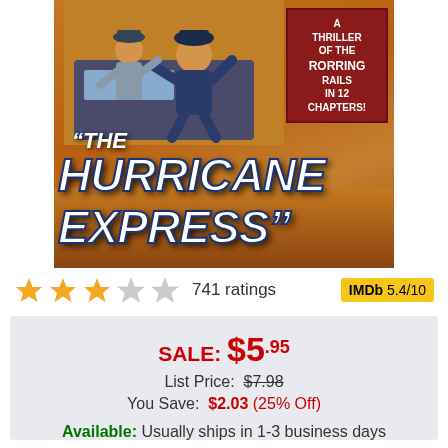[Figure (photo): Movie poster for 'The Hurricane Express' — a DVD/film product image showing two figures fighting on a train, with large title text and a red badge reading 'A THRILLER OF THE RORRING RAILS IN 12 CHAPTERS!']
741 ratings
IMDb 5.4/10
SALE: $5.95
List Price: $7.98
You Save: $2.03 (25% Off)
Available: Usually ships in 1-3 business days